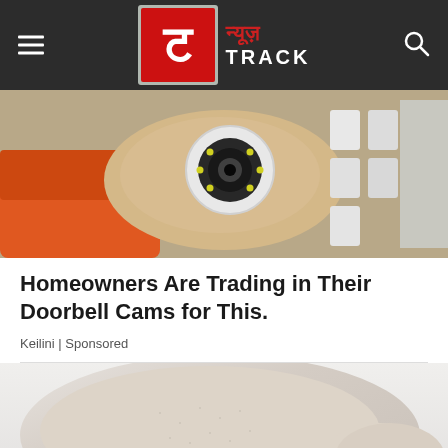न्यूज़ TRACK
[Figure (photo): A hand holding a small round white security camera with LED ring, with an orange power drill in the background and white plastic components]
Homeowners Are Trading in Their Doorbell Cams for This.
Keilini | Sponsored
[Figure (photo): Close-up of a person's dry, rough skin on an elbow or knee area against a white fabric background]